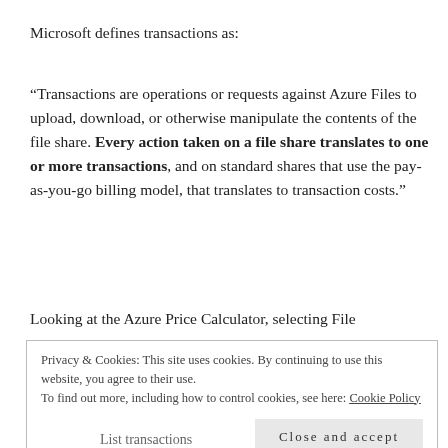Microsoft defines transactions as:
“Transactions are operations or requests against Azure Files to upload, download, or otherwise manipulate the contents of the file share. Every action taken on a file share translates to one or more transactions, and on standard shares that use the pay-as-you-go billing model, that translates to transaction costs.”
Looking at the Azure Price Calculator, selecting File
Privacy & Cookies: This site uses cookies. By continuing to use this website, you agree to their use.
To find out more, including how to control cookies, see here: Cookie Policy
Close and accept
List transactions